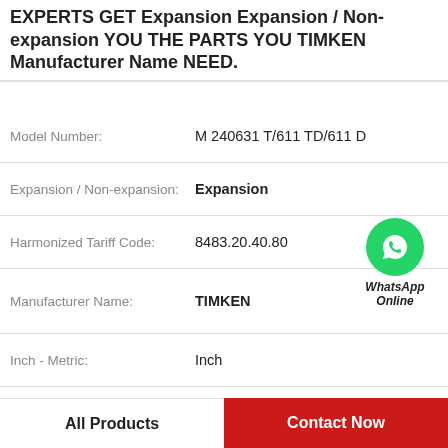EXPERTS GET Expansion Expansion / Non-expansion YOU THE PARTS YOU TIMKEN Manufacturer Name NEED.
| Attribute | Value |
| --- | --- |
| Model Number: | M 240631 T/611 TD/611 D |
| Expansion / Non-expansion: | Expansion |
| Harmonized Tariff Code: | 8483.20.40.80 |
| Manufacturer Name: | TIMKEN |
| Inch - Metric: | Inch |
| Inventory: | 0.0 |
| Seals: | Double Lip Viton |
| Product Group: | M06288 |
[Figure (logo): WhatsApp Online green circle phone icon with WhatsApp Online text]
All Products
Contact Now